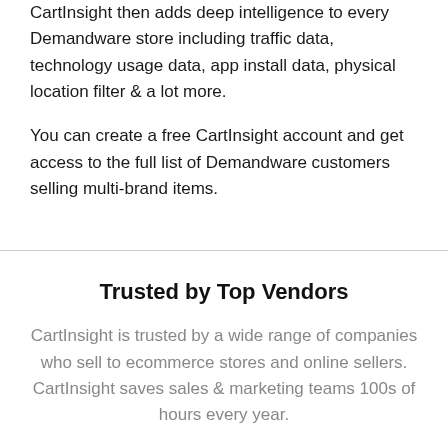CartInsight then adds deep intelligence to every Demandware store including traffic data, technology usage data, app install data, physical location filter & a lot more.
You can create a free CartInsight account and get access to the full list of Demandware customers selling multi-brand items.
Trusted by Top Vendors
CartInsight is trusted by a wide range of companies who sell to ecommerce stores and online sellers. CartInsight saves sales & marketing teams 100s of hours every year.